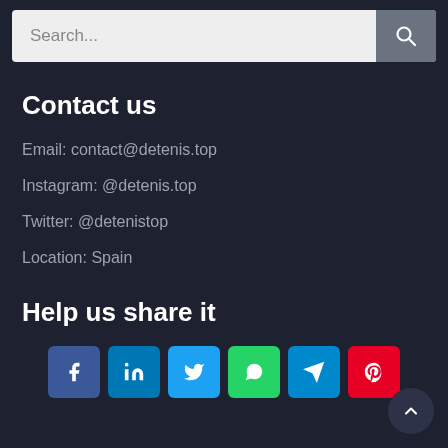[Figure (screenshot): Search bar with text input field and search button icon]
Contact us
Email: contact@detenis.top
Instagram: @detenis.top
Twitter: @detenistop
Location: Spain
Help us share it
[Figure (infographic): Social media share buttons: Facebook, LinkedIn, Twitter, WhatsApp, Telegram, Pinterest]